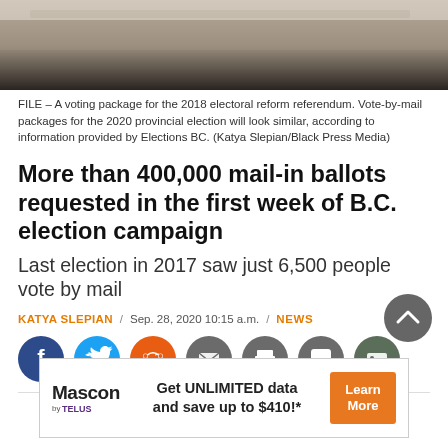[Figure (photo): Partial view of a voting package/envelope on a table, close-up shot with shallow depth of field]
FILE – A voting package for the 2018 electoral reform referendum. Vote-by-mail packages for the 2020 provincial election will look similar, according to information provided by Elections BC. (Katya Slepian/Black Press Media)
More than 400,000 mail-in ballots requested in the first week of B.C. election campaign
Last election in 2017 saw just 6,500 people vote by mail
KATYA SLEPIAN / Sep. 28, 2020 10:15 a.m. / NEWS
[Figure (infographic): Social sharing buttons row: Facebook (blue), Twitter (light blue), Reddit (orange), Email (grey), Print (grey), Comment (grey), Gallery (dark grey-green)]
[Figure (infographic): Back to top button, dark grey circle with white chevron pointing up]
[Figure (infographic): Mascon by Telus advertisement: Get UNLIMITED data and save up to $410!* with Learn More button]